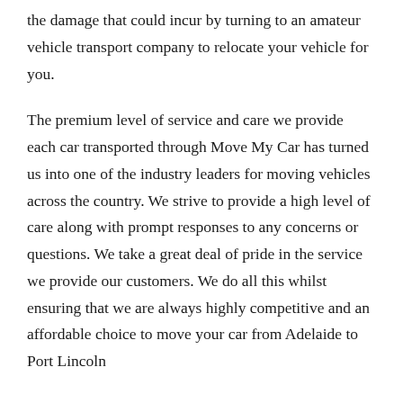the damage that could incur by turning to an amateur vehicle transport company to relocate your vehicle for you.
The premium level of service and care we provide each car transported through Move My Car has turned us into one of the industry leaders for moving vehicles across the country. We strive to provide a high level of care along with prompt responses to any concerns or questions. We take a great deal of pride in the service we provide our customers. We do all this whilst ensuring that we are always highly competitive and an affordable choice to move your car from Adelaide to Port Lincoln